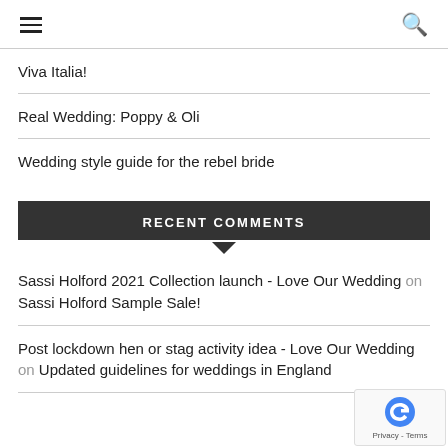≡  🔍
Viva Italia!
Real Wedding: Poppy & Oli
Wedding style guide for the rebel bride
RECENT COMMENTS
Sassi Holford 2021 Collection launch - Love Our Wedding on Sassi Holford Sample Sale!
Post lockdown hen or stag activity idea - Love Our Wedding on Updated guidelines for weddings in England